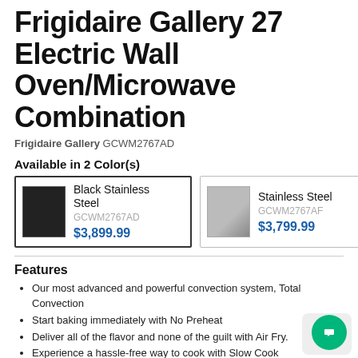Frigidaire Gallery 27 Electric Wall Oven/Microwave Combination
Frigidaire Gallery GCWM2767AD
Available in 2 Color(s)
| Color | SKU | Price |
| --- | --- | --- |
| Black Stainless Steel | GCWM2767AD | $3,899.99 |
| Stainless Steel | GCWM2767AF | $3,799.99 |
Features
Our most advanced and powerful convection system, Total Convection
Start baking immediately with No Preheat
Deliver all of the flavor and none of the guilt with Air Fry.
Experience a hassle-free way to cook with Slow Cook